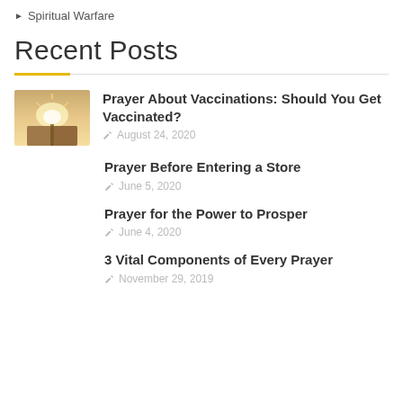Spiritual Warfare
Recent Posts
Prayer About Vaccinations: Should You Get Vaccinated? — August 24, 2020
Prayer Before Entering a Store — June 5, 2020
Prayer for the Power to Prosper — June 4, 2020
3 Vital Components of Every Prayer — November 29, 2019